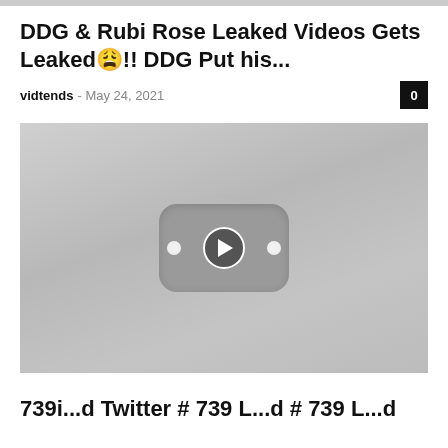DDG & Rubi Rose Leaked Videos Gets Leaked😩!! DDG Put his...
vidtends - May 24, 2021
[Figure (screenshot): Video thumbnail with YouTube-style play button overlay on gray background]
739i...d Twitter # 739 L...d # 739 L...d